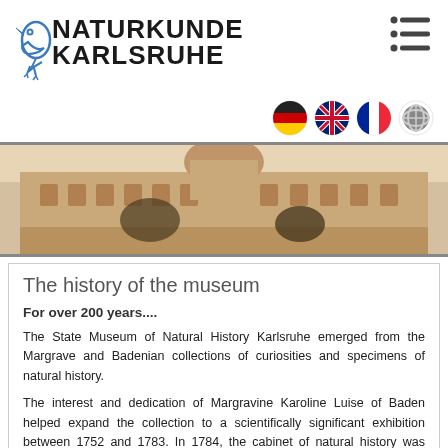[Figure (logo): Naturkundemuseum Karlsruhe logo with stylized bird/animal icon in blue outline and bold text]
[Figure (other): Hamburger menu icon with three rows of dot and lines]
[Figure (other): Language selector flags: German flag, UK flag, French flag, and a grey CBS/globe icon]
[Figure (photo): Sepia-toned historical photograph of the Naturkundemuseum Karlsruhe building exterior]
The history of the museum
For over 200 years....
The State Museum of Natural History Karlsruhe emerged from the Margrave and Badenian collections of curiosities and specimens of natural history.
The interest and dedication of Margravine Karoline Luise of Baden helped expand the collection to a scientifically significant exhibition between 1752 and 1783. In 1784, the cabinet of natural history was moved to the facilities of the court library, and it was first opened to the bourgeoisie as a museum in 1785. In other words, the collections of today's natural history museum have been open to the public for